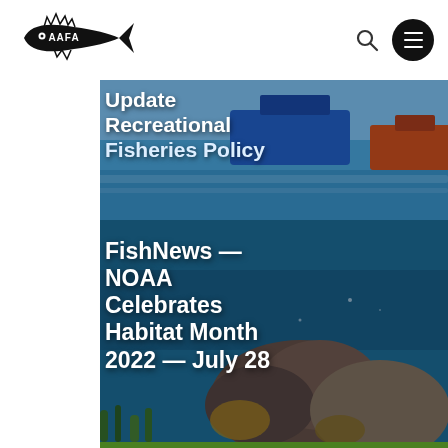[Figure (logo): AAFA fish logo with text AAFA inside a fish silhouette with spiky fins]
Update Recreational Fisheries Policy
[Figure (photo): Underwater coral reef scene with rocks, coral, and blue water background — card for FishNews article]
FishNews — NOAA Celebrates Habitat Month 2022 — July 28
[Figure (photo): Green seaweed or aquatic plant photo, partially visible at bottom of page]